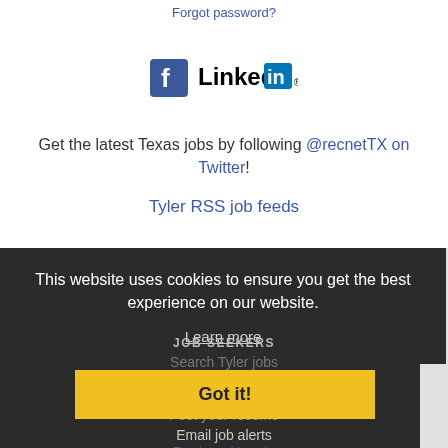Forgot password?
[Figure (logo): Facebook and LinkedIn social media logos side by side]
Get the latest Texas jobs by following @recnetTX on Twitter!
Tyler RSS job feeds
This website uses cookies to ensure you get the best experience on our website.
Learn more
JOB SEEKERS
Search Tyler jobs
Got it!
Post your resume
Email job alerts
Register / Log in